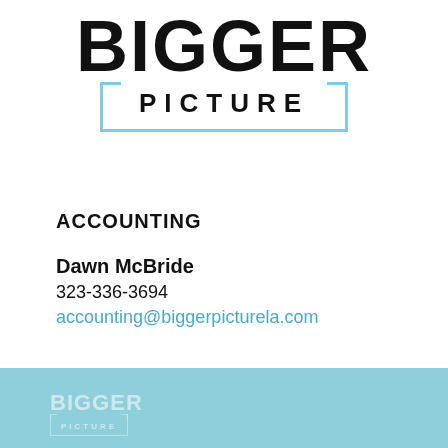[Figure (logo): Bigger Picture company logo with large bold BIGGER text above and PICTURE text inside a rectangular bracket frame with light blue border]
ACCOUNTING
Dawn McBride
323-336-3694
accounting@biggerpicturela.com